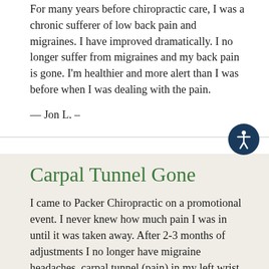For many years before chiropractic care, I was a chronic sufferer of low back pain and migraines. I have improved dramatically. I no longer suffer from migraines and my back pain is gone. I'm healthier and more alert than I was before when I was dealing with the pain.
— Jon L. –
Carpal Tunnel Gone
I came to Packer Chiropractic on a promotional event. I never knew how much pain I was in until it was taken away. After 2-3 months of adjustments I no longer have migraine headaches, carpal tunnel (pain) in my left wrist is gone. Chiropractic takes time but the results